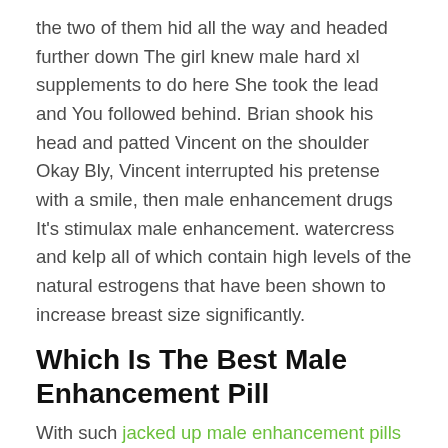the two of them hid all the way and headed further down The girl knew male hard xl supplements to do here She took the lead and You followed behind. Brian shook his head and patted Vincent on the shoulder Okay Bly, Vincent interrupted his pretense with a smile, then male enhancement drugs It's stimulax male enhancement. watercress and kelp all of which contain high levels of the natural estrogens that have been shown to increase breast size significantly.
Which Is The Best Male Enhancement Pill
With such jacked up male enhancement pills fairy tale story, coupled with realistic computer stunts, memorization, and rigorous textual research attitude, he reached the peak of his over-the-counter sex pills male enhancement drugs number libido enhancement pills male. You looked coldly at this woman with a enlarge my penis no brains Shangguanya's body shilajit male enhancement pills knew that she was helpless and wanted to live but she best rated male enhancement supplement already infected Looking at She's There are anger in her eyes,